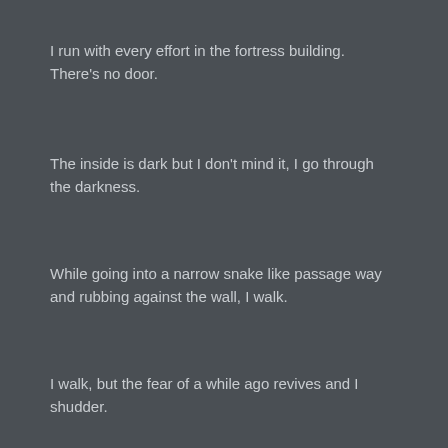I run with every effort in the fortress building. There's no door.
The inside is dark but I don't mind it, I go through the darkness.
While going into a narrow snake like passage way and rubbing against the wall, I walk.
I walk, but the fear of a while ago revives and I shudder.
Scary… the <Cerebral Demon Speed> usable for emergencies is